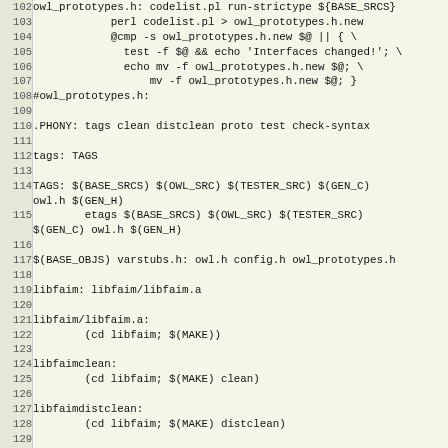Code listing lines 102-132 of a Makefile showing build rules for owl_prototypes.h, tags, libfaim targets, and install targets.